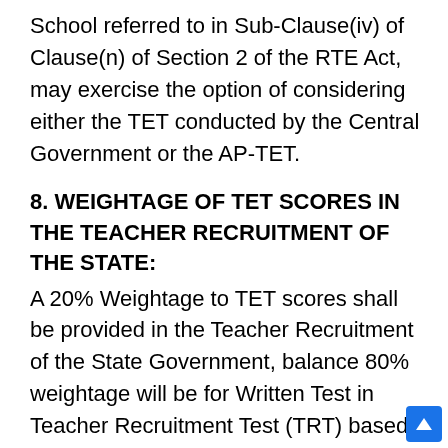School referred to in Sub-Clause(iv) of Clause(n) of Section 2 of the RTE Act, may exercise the option of considering either the TET conducted by the Central Government or the AP-TET.
8. WEIGHTAGE OF TET SCORES IN THE TEACHER RECRUITMENT OF THE STATE:
A 20% Weightage to TET scores shall be provided in the Teacher Recruitment of the State Government, balance 80% weightage will be for Written Test in Teacher Recruitment Test (TRT) based on which selection lists shall be prepared.
However, mere qualifying the TET would not confer a right on any person for recruitment/ employment as it is only one of the eligibility criteria for Teacher appointment.